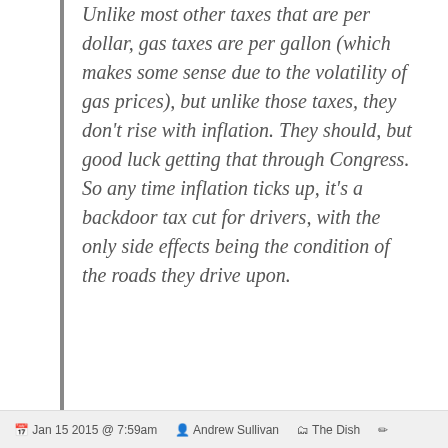Unlike most other taxes that are per dollar, gas taxes are per gallon (which makes some sense due to the volatility of gas prices), but unlike those taxes, they don't rise with inflation. They should, but good luck getting that through Congress. So any time inflation ticks up, it's a backdoor tax cut for drivers, with the only side effects being the condition of the roads they drive upon.
Tweet | Email
Loading...
Jan 15 2015 @ 7:59am   Andrew Sullivan   The Dish